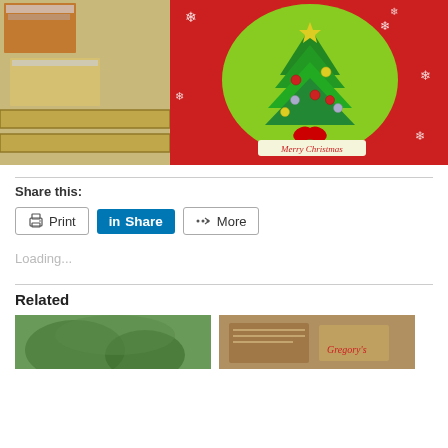[Figure (photo): Photograph showing a Christmas gift bag with a decorated Christmas tree design (green, red ornaments, star, 'Merry Christmas' banner), placed next to cardboard boxes on shelving]
Share this:
Print   Share   More
Loading...
Related
[Figure (photo): Small thumbnail photo, outdoor scene with greenery]
[Figure (photo): Small thumbnail photo showing old books or documents with 'Gregory's' text visible]